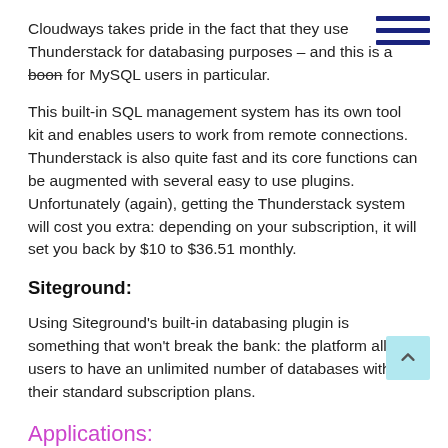Cloudways takes pride in the fact that they use Thunderstack for databasing purposes – and this is a boon for MySQL users in particular.
This built-in SQL management system has its own tool kit and enables users to work from remote connections. Thunderstack is also quite fast and its core functions can be augmented with several easy to use plugins. Unfortunately (again), getting the Thunderstack system will cost you extra: depending on your subscription, it will set you back by $10 to $36.51 monthly.
Siteground:
Using Siteground's built-in databasing plugin is something that won't break the bank: the platform allows users to have an unlimited number of databases with their standard subscription plans.
Applications:
To really grow your website, how well does Siteground vs